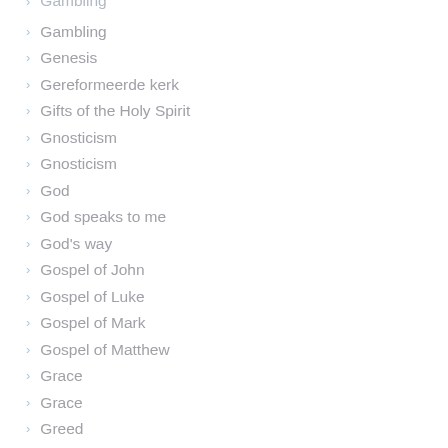Gambling
Genesis
Gereformeerde kerk
Gifts of the Holy Spirit
Gnosticism
Gnosticism
God
God speaks to me
God's way
Gospel of John
Gospel of Luke
Gospel of Mark
Gospel of Matthew
Grace
Grace
Greed
Guidelines